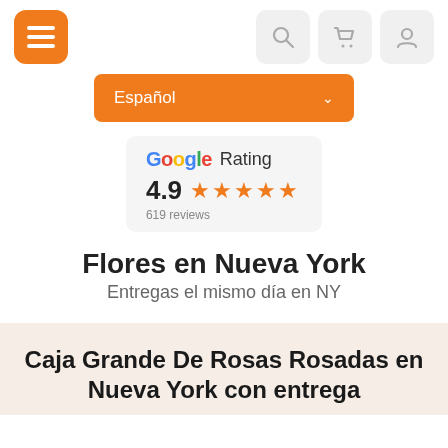Navigation bar with menu, search, cart, and profile icons
[Figure (screenshot): Español language dropdown selector with orange background]
[Figure (infographic): Google Rating box showing 4.9 stars with 619 reviews]
Flores en Nueva York
Entregas el mismo día en NY
Caja Grande De Rosas Rosadas en Nueva York con entrega